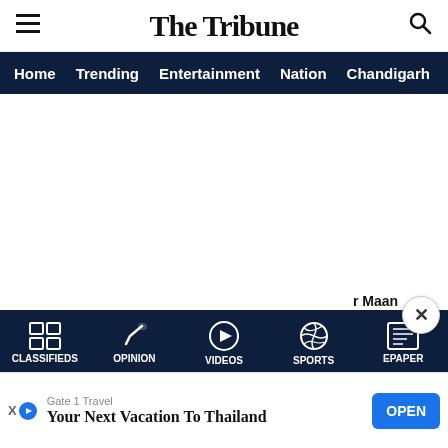The Tribune
Home | Trending | Entertainment | Nation | Chandigarh | Punjab
Most Read
CLASSIFIEDS | OPINION | VIDEOS | SPORTS | EPAPER
Gate 1 Travel — Your Next Vacation To Thailand — OPEN